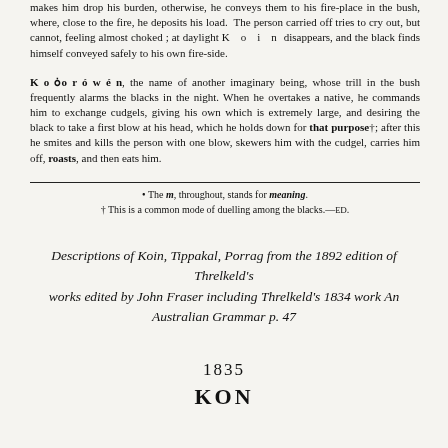makes him drop his burden, otherwise, he conveys them to his fire-place in the bush, where, close to the fire, he deposits his load. The person carried off tries to cry out, but cannot, feeling almost choked; at daylight K o i n disappears, and the black finds himself conveyed safely to his own fire-side.
Koĸorówén, the name of another imaginary being, whose trill in the bush frequently alarms the blacks in the night. When he overtakes a native, he commands him to exchange cudgels, giving his own which is extremely large, and desiring the black to take a first blow at his head, which he holds down for that purpose†; after this he smites and kills the person with one blow, skewers him with the cudgel, carries him off, roasts, and then eats him.
* The m, throughout, stands for meaning.
† This is a common mode of duelling among the blacks.—Ed.
Descriptions of Koin, Tippakal, Porrag from the 1892 edition of Threlkeld's works edited by John Fraser including Threlkeld's 1834 work An Australian Grammar p. 47
1835
KON